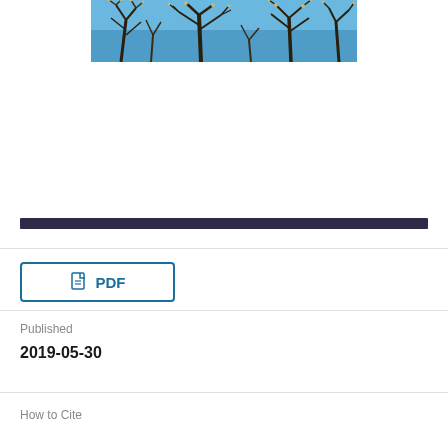[Figure (photo): Photograph of bare tree branches against a blue sky, shown as a horizontal strip at the top of the page]
Published
2019-05-30
How to Cite